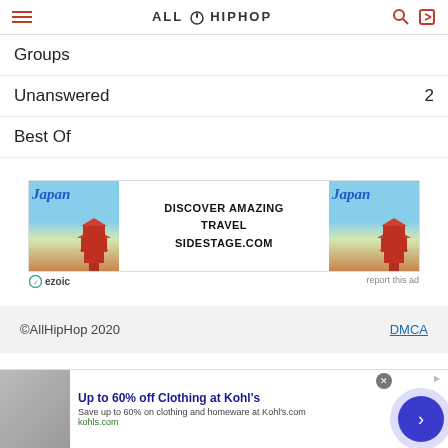AllHipHop
Groups
Unanswered  2
Best Of
[Figure (screenshot): Advertisement banner for Japan travel - Discover Amazing Travel Sidestage.com, with ezoic badge]
©AllHipHop 2020   DMCA
[Figure (screenshot): Bottom advertisement banner: Up to 60% off Clothing at Kohl's - Save up to 60% on clothing and homeware at Kohl's.com, kohls.com]